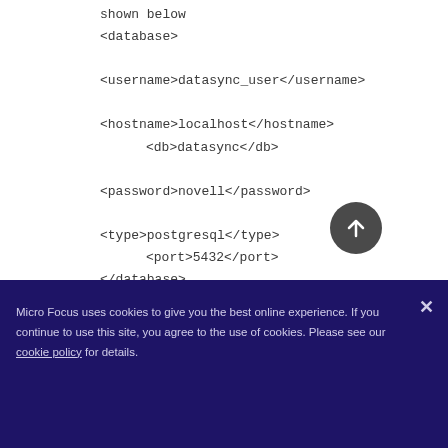shown below
<database>

<username>datasync_user</username>

<hostname>localhost</hostname>
<db>datasync</db>

<password>novell</password>

<type>postgresql</type>
<port>5432</port>
</database>
3. Edit
Micro Focus uses cookies to give you the best online experience. If you continue to use this site, you agree to the use of cookies. Please see our cookie policy for details.